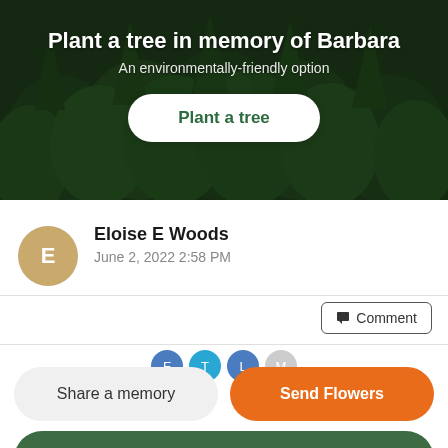[Figure (photo): Aerial view of dense green forest/pine trees used as hero background image]
Plant a tree in memory of Barbara
An environmentally-friendly option
Plant a tree
Eloise E Woods
June 2, 2022 2:58 PM
Comment
Share a memory
Send Flowers
Plant a Tree